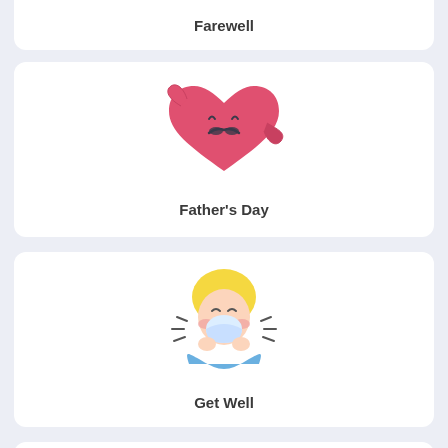Farewell
[Figure (illustration): A cute heart emoji character with a mustache, waving, colored pink/red]
Father's Day
[Figure (illustration): A cute blonde child character sneezing, with motion lines, wearing a blue outfit]
Get Well
[Figure (illustration): A cute four-leaf clover character with a smiling face, colored in teal/green]